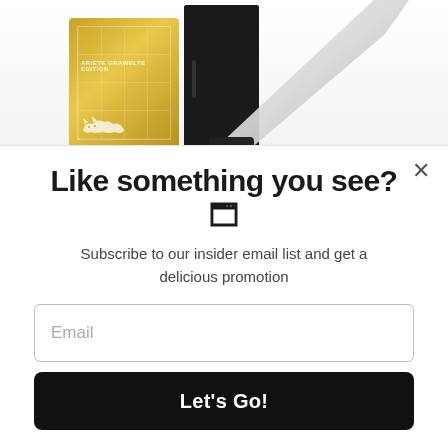[Figure (photo): Product photo showing a gold-colored knife gift box with grid pattern and a cat silhouette logo, a black display box, and a chef's knife blade visible in the foreground]
Like something you see? 🗂
Subscribe to our insider email list and get a delicious promotion
Email
Let's Go!